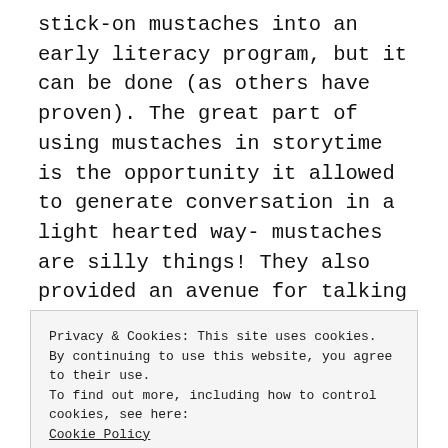stick-on mustaches into an early literacy program, but it can be done (as others have proven). The great part of using mustaches in storytime is the opportunity it allowed to generate conversation in a light hearted way- mustaches are silly things! They also provided an avenue for talking about differences and similarities and, well, the chance to read stories allowed while wearing a fake mustache! I'm not too proud to show up wearing a
Privacy & Cookies: This site uses cookies. By continuing to use this website, you agree to their use.
To find out more, including how to control cookies, see here: Cookie Policy
Close and accept
practices), engagement, the art extension